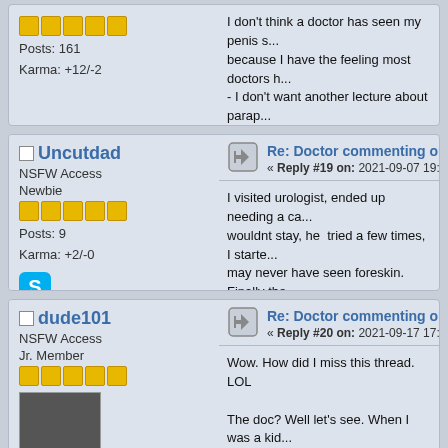Posts: 161
Karma: +12/-2
I don't think a doctor has seen my penis s... because I have the feeling most doctors h... - I don't want another lecture about parap... Interestingly enough I had a doctor check... of A, and he couldn't suppress completely... he didn't see a shriveled foreskin very ofte...
Uncutdad
NSFW Access
Newbie
Posts: 9
Karma: +2/-0
Re: Doctor commenting on retrac...
« Reply #19 on: 2021-09-07 19:52:33 »
I visited urologist, ended up needing a ca... wouldnt stay, he tried a few times, I starte... may never have seen foreskin. Finally the... said yes it has a mind, thats why they call...
dude101
NSFW Access
Jr. Member
Re: Doctor commenting on retrac...
« Reply #20 on: 2021-09-17 17:46:44 »
Wow. How did I miss this thread. LOL
The doc? Well let's see. When I was a kid... mum for not getting her boys cut. He eve... live with himself. He was a war vet himse...